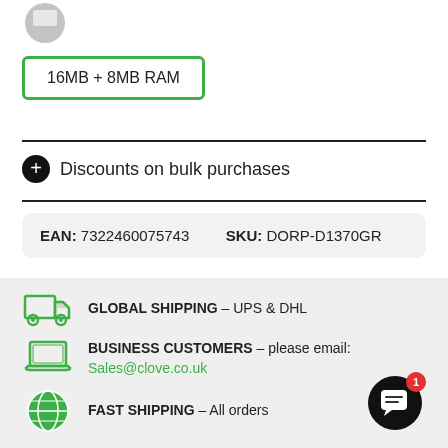[Figure (illustration): Partial gray circular icon at top left]
16MB + 8MB RAM
+ Discounts on bulk purchases
EAN: 7322460075743   SKU: DORP-D1370GR
[Figure (illustration): Green truck icon for global shipping]
GLOBAL SHIPPING – UPS & DHL
[Figure (illustration): Green laptop icon for business customers]
BUSINESS CUSTOMERS – please email: Sales@clove.co.uk
[Figure (illustration): Green globe icon for fast shipping]
FAST SHIPPING – All orders
[Figure (illustration): Black chat button with red notification badge showing 1]